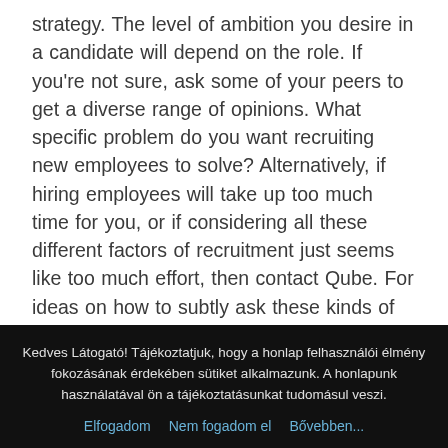strategy. The level of ambition you desire in a candidate will depend on the role. If you're not sure, ask some of your peers to get a diverse range of opinions. What specific problem do you want recruiting new employees to solve? Alternatively, if hiring employees will take up too much time for you, or if considering all these different factors of recruitment just seems like too much effort, then contact Qube. For ideas on how to subtly ask these kinds of questions, see our previous blog post: What Your Interviewers are Really Asking You. Similarly, the candidate who consistently lacked enthusiasm and drive in his last position isn't likely to turn things around in his next one. One of the main factors that should be considered is whether the person is reliable. It helps
Kedves Látogató! Tájékoztatjuk, hogy a honlap felhasználói élmény fokozásának érdekében sütiket alkalmazunk. A honlapunk használatával ön a tájékoztatásunkat tudomásul veszi.
Elfogadom   Nem fogadom el   Bővebben...